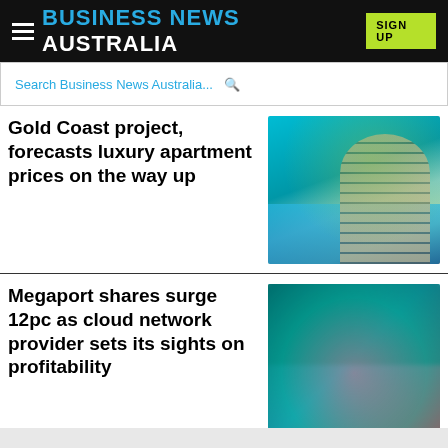BUSINESS NEWS AUSTRALIA | SIGN UP
Search Business News Australia...
Gold Coast project, forecasts luxury apartment prices on the way up
[Figure (photo): Aerial view of a luxury curved residential building on the Gold Coast waterfront with green terraces and ocean backdrop]
Megaport shares surge 12pc as cloud network provider sets its sights on profitability
[Figure (photo): Blurred photo showing people in a conference or networking setting with teal and pink tones]